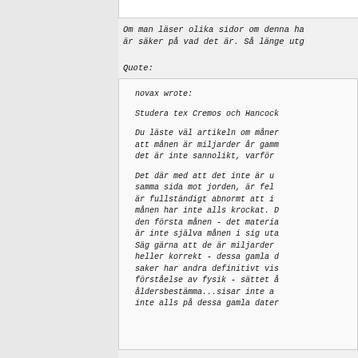Om man läser olika sidor om denna ha är säker på vad det är. Så länge utg
Quote:
novax wrote:

Studera tex Cremos och Hancock

Du läste väl artikeln om månen att månen är miljarder år gamm det är inte sannolikt, varför

Det där med att det inte är u samma sida mot jorden, är fel är fullständigt abnormt att i månen har inte alls krockat. den första månen - det materia är inte själva månen i sig uta Säg gärna att de är miljarder heller korrekt - dessa gamla d saker har andra definitivt vis förståelse av fysik - sättet å åldersbestämma...sisar inte a inte alls på dessa gamla dater